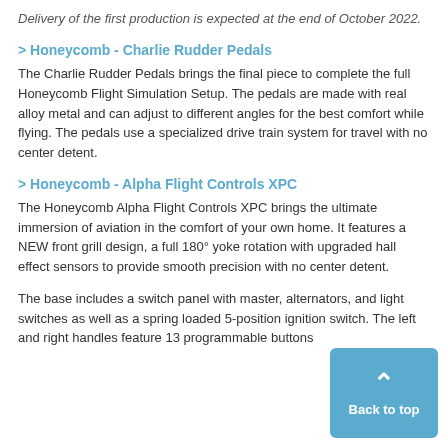Delivery of the first production is expected at the end of October 2022.
> Honeycomb - Charlie Rudder Pedals
The Charlie Rudder Pedals brings the final piece to complete the full Honeycomb Flight Simulation Setup. The pedals are made with real alloy metal and can adjust to different angles for the best comfort while flying. The pedals use a specialized drive train system for travel with no center detent.
> Honeycomb - Alpha Flight Controls XPC
The Honeycomb Alpha Flight Controls XPC brings the ultimate immersion of aviation in the comfort of your own home. It features a NEW front grill design, a full 180° yoke rotation with upgraded hall effect sensors to provide smooth precision with no center detent.
The base includes a switch panel with master, alternators, and light switches as well as a spring loaded 5-position ignition switch. The left and right handles feature 13 programmable buttons
[Figure (other): Back to top button — blue rounded rectangle with upward chevron arrow and text 'Back to top']